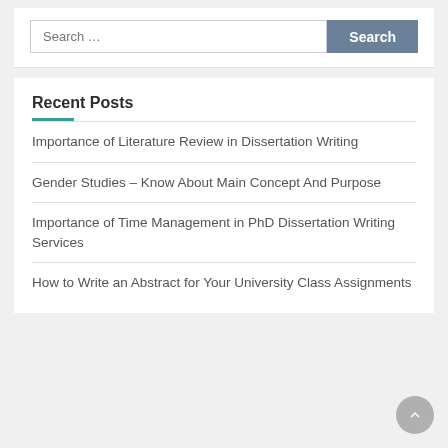Search …
Recent Posts
Importance of Literature Review in Dissertation Writing
Gender Studies – Know About Main Concept And Purpose
Importance of Time Management in PhD Dissertation Writing Services
How to Write an Abstract for Your University Class Assignments